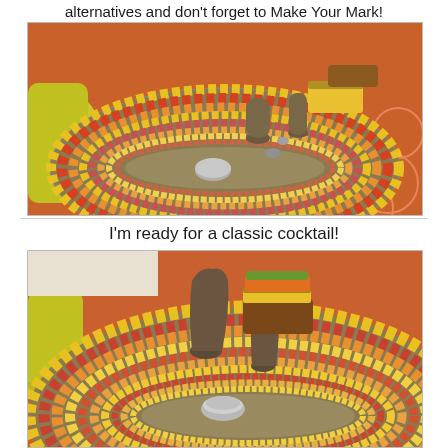alternatives and don't forget to Make Your Mark!
[Figure (photo): Overhead view of a round mosaic tile coffee table with yellow, orange, red, and pink tiles in concentric patterns. Decorative items placed on top including vases and a bowl. Yellow chair and orange patterned rug visible.]
I'm ready for a classic cocktail!
[Figure (photo): Close-up angled view of the same round mosaic tile coffee table showing yellow, orange, red, and pink tile pattern. Brown ceramic vases, a wooden box, and a small bowl with metallic items on top. Yellow chair and orange rug in background.]